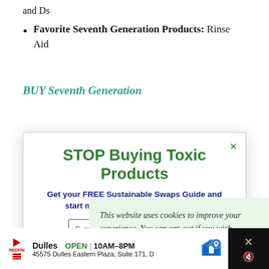and Ds
Favorite Seventh Generation Products: Rinse Aid
BUY Seventh Generation
[Figure (screenshot): Popup modal with title 'STOP Buying Toxic Products', subtitle 'Get your FREE Sustainable Swaps Guide and start making healthy changes NOW!', email and first name input fields, and a close X button.]
This website uses cookies to improve your experience. You can opt-out if you wish.
Accept | Reject | Read More
[Figure (screenshot): Ad banner for Dulles store showing OPEN 10AM-8PM at 45575 Dulles Eastern Plaza, Suite 171, D with a map pin icon.]